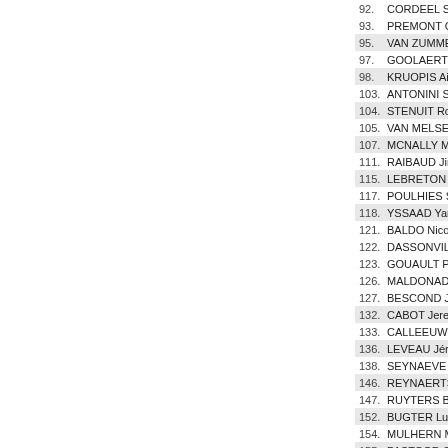92. CORDEEL Sander
93. PREMONT Christophe
95. VAN ZUMMEREN Stef
97. GOOLAERTS Michael
98. KRUOPIS Aidis
103. ANTONINI Simone
104. STENUIT Robin
105. VAN MELSEN Kevin
107. MCNALLY Mark
111. RAIBAUD Jimmy
115. LEBRETON Kevin
117. POULHIES Stéphane
118. YSSAAD Yannis
121. BALDO Nicolas
122. DASSONVILLE Flavien
123. GOUAULT Pierre
126. MALDONADO Anthony
127. BESCOND Jérémy
132. CABOT Jeremy
133. CALLEEUW Joeri
136. LEVEAU Jérémy
138. SEYNAEVE Lander
146. REYNAERTS Wim
147. RUYTERS Brecht
152. BUGTER Luuc
154. MULHERN Mitchell
155. PASTOOR Gerco
156. TALEN Jordi
157. VAN DEN BOSCH...